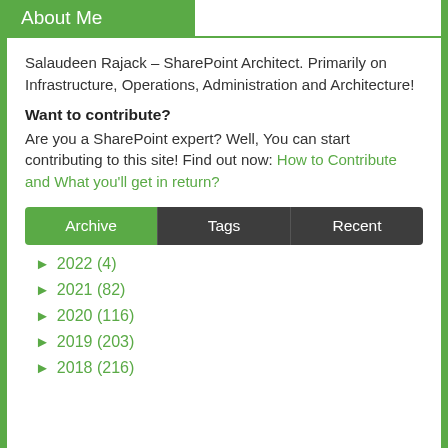About Me
Salaudeen Rajack – SharePoint Architect. Primarily on Infrastructure, Operations, Administration and Architecture!
Want to contribute?
Are you a SharePoint expert? Well, You can start contributing to this site! Find out now: How to Contribute and What you'll get in return?
Archive | Tags | Recent
► 2022 (4)
► 2021 (82)
► 2020 (116)
► 2019 (203)
► 2018 (216)